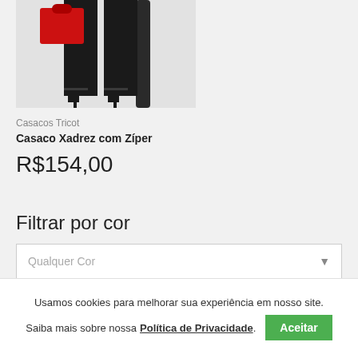[Figure (photo): Fashion product photo showing lower body in black pants and heels, holding a red handbag, on stairs background]
Casacos Tricot
Casaco Xadrez com Zíper
R$154,00
Filtrar por cor
Qualquer Cor
Usamos cookies para melhorar sua experiência em nosso site.
Saiba mais sobre nossa Política de Privacidade.